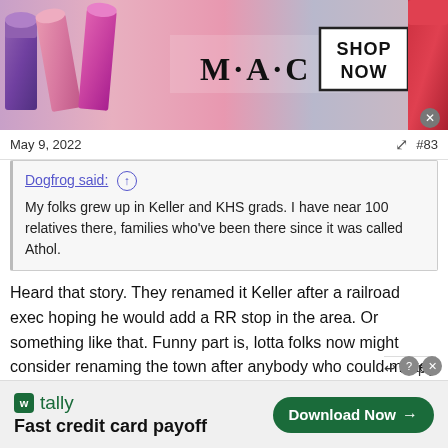[Figure (illustration): MAC cosmetics advertisement banner showing lipsticks on left, MAC logo in center, SHOP NOW text in a box, and red lipstick on right]
May 9, 2022  #83
Dogfrog said: ↑
My folks grew up in Keller and KHS grads. I have near 100 relatives there, families who've been there since it was called Athol.
Heard that story. They renamed it Keller after a railroad exec hoping he would add a RR stop in the area. Or something like that. Funny part is, lotta folks now might consider renaming the town after anybody who could make the rail line disappear.
[Figure (illustration): Tally app advertisement - Fast credit card payoff with Download Now button]